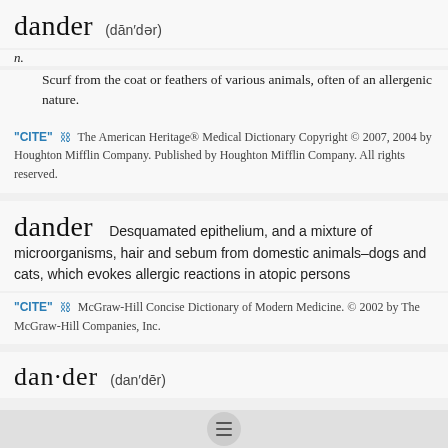dander (dān′dər)
n.
Scurf from the coat or feathers of various animals, often of an allergenic nature.
"CITE" 🔗 The American Heritage® Medical Dictionary Copyright © 2007, 2004 by Houghton Mifflin Company. Published by Houghton Mifflin Company. All rights reserved.
dander  Desquamated epithelium, and a mixture of microorganisms, hair and sebum from domestic animals–dogs and cats, which evokes allergic reactions in atopic persons
"CITE" 🔗 McGraw-Hill Concise Dictionary of Modern Medicine. © 2002 by The McGraw-Hill Companies, Inc.
dan·der (dan′dēr)